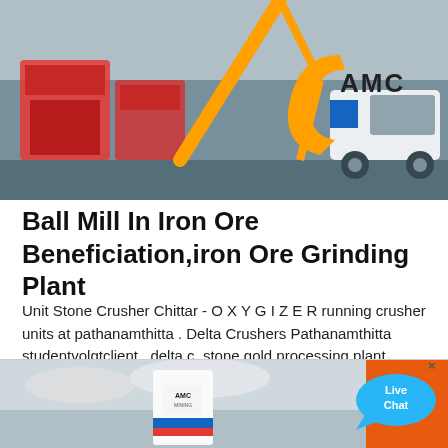[Figure (photo): Industrial machinery / crushing equipment being loaded or assembled, with an orange and blue AMC logo visible in the background. Heavy machinery and crane visible.]
Ball Mill In Iron Ore Beneficiation,iron Ore Grinding Plant
Unit Stone Crusher Chittar - O X Y G I Z E R running crusher units at pathanamthitta . Delta Crushers Pathanamthitta studentvolgtclient . delta c. stone gold processing plant. stone gold quarry processing plant in indonesia 1000th stone crushing plant gold ore processing. we are the leads in mining & quarry industry.
[Figure (photo): Industrial tower or silo structure with AMC branding, photographed against a cloudy sky.]